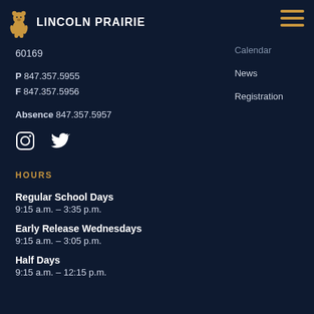LINCOLN PRAIRIE
Calendar
News
Registration
60169
P 847.357.5955
F 847.357.5956
Absence 847.357.5957
[Figure (other): Instagram and Twitter social media icons]
HOURS
Regular School Days
9:15 a.m. – 3:35 p.m.
Early Release Wednesdays
9:15 a.m. – 3:05 p.m.
Half Days
9:15 a.m. – 12:15 p.m.